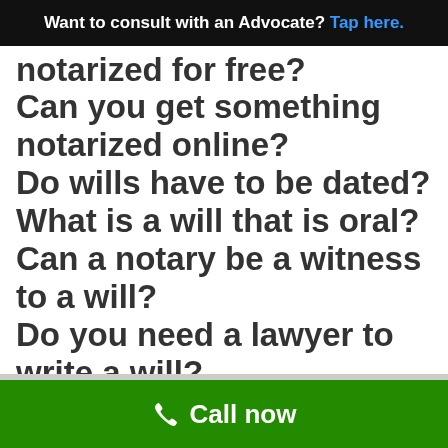Want to consult with an Advocate? Tap here.
notarized for free?
Can you get something notarized online?
Do wills have to be dated?
What is a will that is oral?
Can a notary be a witness to a will?
Do you need a lawyer to write a will?
POSTED IN FAMILY LAW
Call now